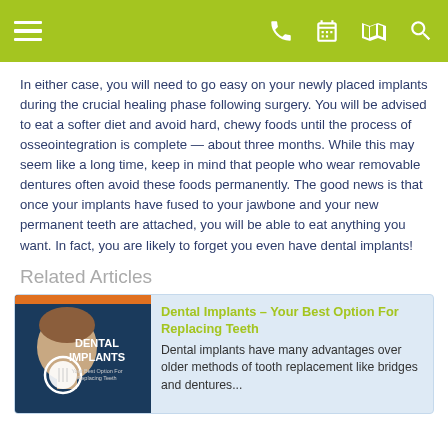Navigation bar with menu, phone, calendar, map, and search icons
In either case, you will need to go easy on your newly placed implants during the crucial healing phase following surgery. You will be advised to eat a softer diet and avoid hard, chewy foods until the process of osseointegration is complete — about three months. While this may seem like a long time, keep in mind that people who wear removable dentures often avoid these foods permanently. The good news is that once your implants have fused to your jawbone and your new permanent teeth are attached, you will be able to eat anything you want. In fact, you are likely to forget you even have dental implants!
Related Articles
[Figure (photo): Book cover image for 'Dental Implants – Your Best Option For Replacing Teeth' showing a woman's profile with dental implant illustration]
Dental Implants – Your Best Option For Replacing Teeth
Dental implants have many advantages over older methods of tooth replacement like bridges and dentures...